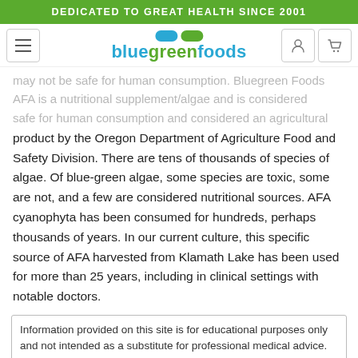DEDICATED TO GREAT HEALTH SINCE 2001
[Figure (logo): BlueGreen Foods logo with blue and green pills above the text 'bluegreenfoods']
may not be safe for human consumption. Bluegreen Foods AFA is a nutritional supplement/algae and is considered safe for human consumption and considered an agricultural product by the Oregon Department of Agriculture Food and Safety Division. There are tens of thousands of species of algae. Of blue-green algae, some species are toxic, some are not, and a few are considered nutritional sources. AFA cyanophyta has been consumed for hundreds, perhaps thousands of years. In our current culture, this specific source of AFA harvested from Klamath Lake has been used for more than 25 years, including in clinical settings with notable doctors.
Information provided on this site is for educational purposes only and not intended as a substitute for professional medical advice. These statements have not been evaluated by the Food and Drug Administration and are not intended to diagnose, treat, cure or prevent disease. Consult with your physician or healthcare